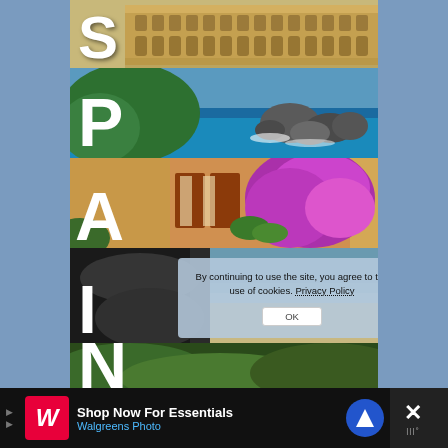[Figure (photo): Collage of Spain travel photos showing: historic plaza (Salamanca), coastal rocky sea view, Mediterranean house with bougainvillea flowers, cliffside coastal landscape, and green forest landscape. Large letters S, P, A, I, N overlay each photo strip respectively.]
By continuing to use the site, you agree to the use of cookies. Privacy Policy
OK
[Figure (infographic): Walgreens Photo advertisement banner: 'Shop Now For Essentials' with Walgreens Photo branding in red and blue, navigation icon, and close button.]